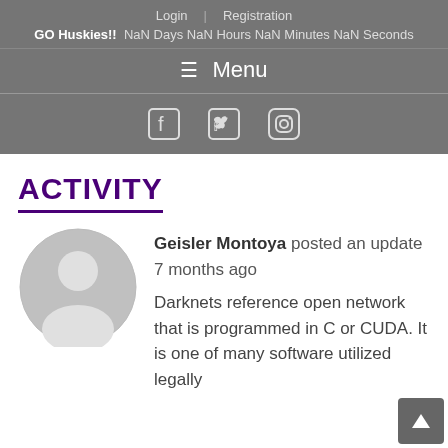Login | Registration
GO Huskies!! NaN Days NaN Hours NaN Minutes NaN Seconds
≡ Menu
[Figure (other): Social media icons: Facebook, Twitter, Instagram]
ACTIVITY
[Figure (photo): Default user avatar - grey circle silhouette]
Geisler Montoya posted an update 7 months ago
Darknets reference open network that is programmed in C or CUDA. It is one of many software utilized legally